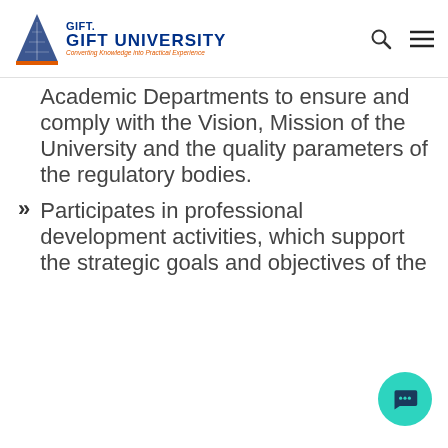GIFT UNIVERSITY — Converting Knowledge into Practical Experience
Academic Departments to ensure and comply with the Vision, Mission of the University and the quality parameters of the regulatory bodies.
Participates in professional development activities, which support the strategic goals and objectives of the